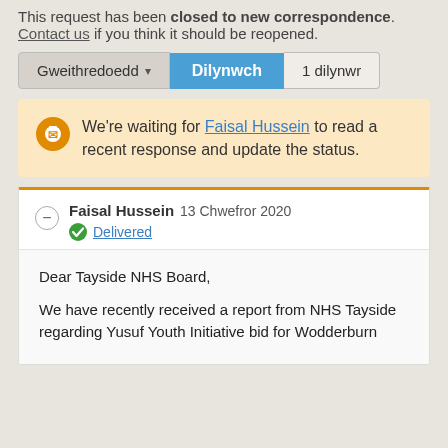This request has been closed to new correspondence. Contact us if you think it should be reopened.
Gweithredoedd ▾   Dilynwch   1 dilynwr
We're waiting for Faisal Hussein to read a recent response and update the status.
Faisal Hussein 13 Chwefror 2020 Delivered
Dear Tayside NHS Board,

We have recently received a report from NHS Tayside regarding Yusuf Youth Initiative bid for Wodderburn